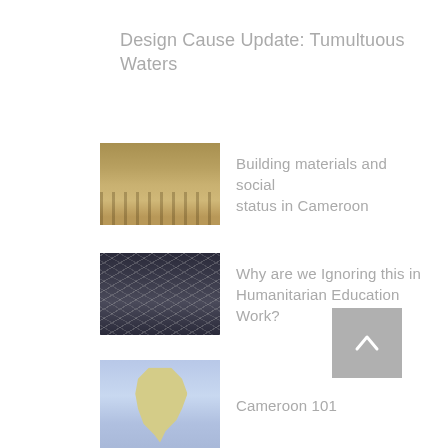Design Cause Update: Tumultuous Waters
Building materials and social status in Cameroon
Why are we Ignoring this in Humanitarian Education Work?
[Figure (other): Scroll to top button with upward chevron arrow]
Cameroon 101